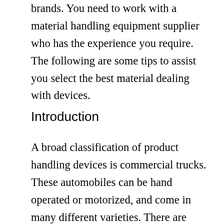brands. You need to work with a material handling equipment supplier who has the experience you require. The following are some tips to assist you select the best material dealing with devices.
Introduction
A broad classification of product handling devices is commercial trucks. These automobiles can be hand operated or motorized, and come in many different varieties. There are various kinds of forklifts. The most typical forklift type is the pallet jack, which is available in various